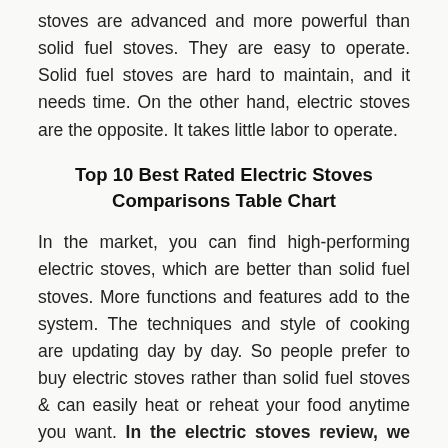stoves are advanced and more powerful than solid fuel stoves. They are easy to operate. Solid fuel stoves are hard to maintain, and it needs time. On the other hand, electric stoves are the opposite. It takes little labor to operate.
Top 10 Best Rated Electric Stoves Comparisons Table Chart
In the market, you can find high-performing electric stoves, which are better than solid fuel stoves. More functions and features add to the system. The techniques and style of cooking are updating day by day. So people prefer to buy electric stoves rather than solid fuel stoves & can easily heat or reheat your food anytime you want. In the electric stoves review, we will try